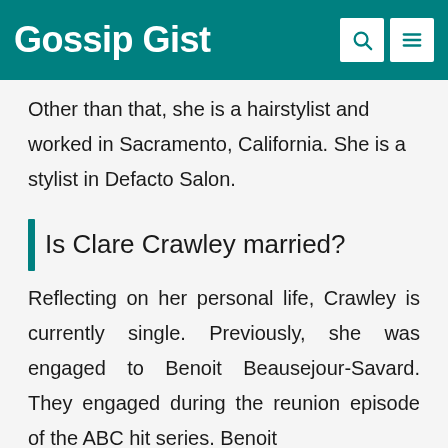Gossip Gist
Other than that, she is a hairstylist and worked in Sacramento, California. She is a stylist in Defacto Salon.
Is Clare Crawley married?
Reflecting on her personal life, Crawley is currently single. Previously, she was engaged to Benoit Beausejour-Savard. They engaged during the reunion episode of the ABC hit series. Benoit